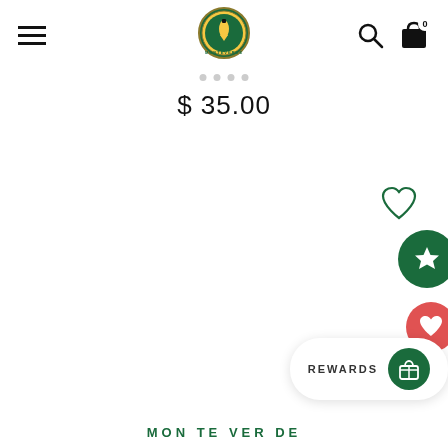[Figure (screenshot): Website navigation bar with hamburger menu, circular logo badge, search icon, and shopping cart icon with 0 items]
$ 35.00
[Figure (other): Heart/wishlist icon outline in dark green]
[Figure (other): Green circle button with white star icon (rewards/favorites)]
[Figure (other): Red/pink circle button with white heart icon]
[Figure (other): REWARDS pill button with green circle icon showing gift/cake symbol]
MONTEVERDE